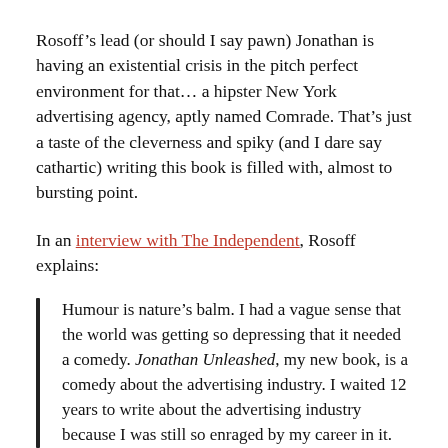Rosoff's lead (or should I say pawn) Jonathan is having an existential crisis in the pitch perfect environment for that… a hipster New York advertising agency, aptly named Comrade. That's just a taste of the cleverness and spiky (and I dare say cathartic) writing this book is filled with, almost to bursting point.
In an interview with The Independent, Rosoff explains:
Humour is nature's balm. I had a vague sense that the world was getting so depressing that it needed a comedy. Jonathan Unleashed, my new book, is a comedy about the advertising industry. I waited 12 years to write about the advertising industry because I was still so enraged by my career in it.